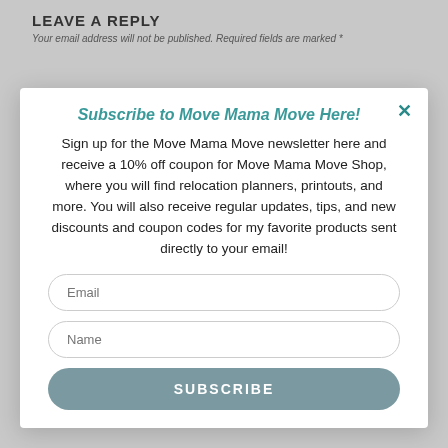LEAVE A REPLY
Your email address will not be published. Required fields are marked *
Subscribe to Move Mama Move Here!
Sign up for the Move Mama Move newsletter here and receive a 10% off coupon for Move Mama Move Shop, where you will find relocation planners, printouts, and more. You will also receive regular updates, tips, and new discounts and coupon codes for my favorite products sent directly to your email!
Email
Name
SUBSCRIBE